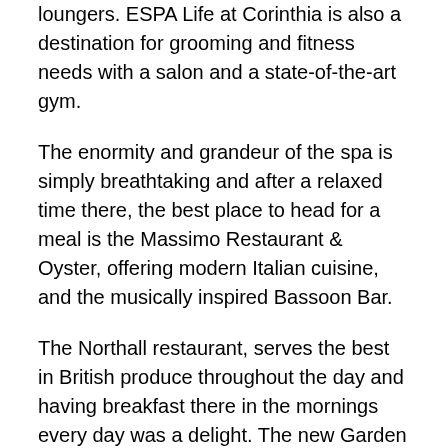loungers. ESPA Life at Corinthia is also a destination for grooming and fitness needs with a salon and a state-of-the-art gym.
The enormity and grandeur of the spa is simply breathtaking and after a relaxed time there, the best place to head for a meal is the Massimo Restaurant & Oyster, offering modern Italian cuisine, and the musically inspired Bassoon Bar.
The Northall restaurant, serves the best in British produce throughout the day and having breakfast there in the mornings every day was a delight. The new Garden Lounge offers all-day dining options in an al fresco David Collins Studio designed garden landscape.
Housed within a Victorian building, Corinthia Hotel London features 294 rooms, including 40 suites and 7 penthouses